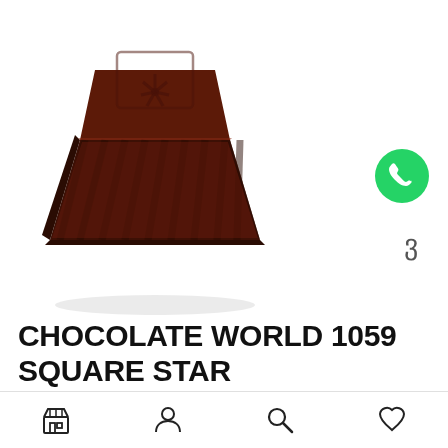[Figure (photo): A square dark chocolate piece with ridged sides and a star/flower embossed pattern on top, photographed on a white background]
[Figure (logo): WhatsApp green circular icon with white telephone handset]
ვ
CHOCOLATE WORLD 1059 SQUARE STAR
[Figure (infographic): Bottom navigation bar with store/shop icon, person/account icon, search magnifier icon, and heart/wishlist icon]